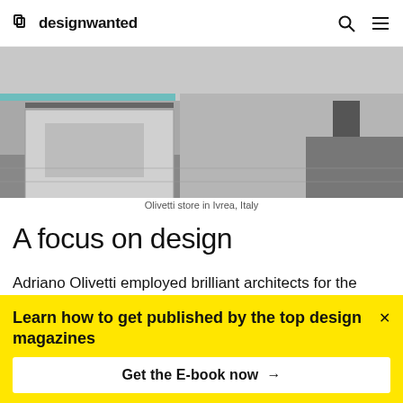designwanted
[Figure (photo): Black and white photo of an Olivetti store interior/exterior in Ivrea, Italy]
Olivetti store in Ivrea, Italy
A focus on design
Adriano Olivetti employed brilliant architects for the Olivetti showroom and also for headquarters around the world, one of the most remarkable examples is the Carlo Scarpa's Venice Showroom of Italian XX
Learn how to get published by the top design magazines
Get the E-book now →